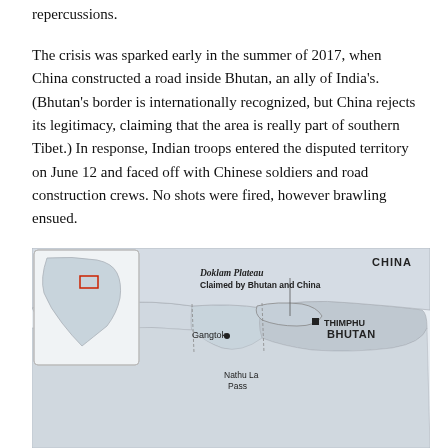repercussions.
The crisis was sparked early in the summer of 2017, when China constructed a road inside Bhutan, an ally of India's. (Bhutan's border is internationally recognized, but China rejects its legitimacy, claiming that the area is really part of southern Tibet.) In response, Indian troops entered the disputed territory on June 12 and faced off with Chinese soldiers and road construction crews. No shots were fired, however brawling ensued.
[Figure (map): Map showing the Doklam Plateau area claimed by Bhutan and China, with an inset showing the broader regional context. Labels include China, Bhutan, Nepal, Thimphu, Gangtok, and Nathu La Pass. A red rectangle on the inset marks the region of interest.]